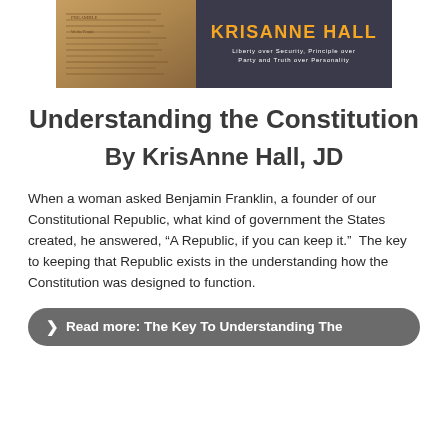[Figure (logo): KrisAnne Hall banner logo with decorative document background on left and name/tagline on dark right panel]
Understanding the Constitution
By KrisAnne Hall, JD
When a woman asked Benjamin Franklin, a founder of our Constitutional Republic, what kind of government the States created, he answered, “A Republic, if you can keep it.”  The key to keeping that Republic exists in the understanding how the Constitution was designed to function.
❯ Read more: The Key To Understanding The